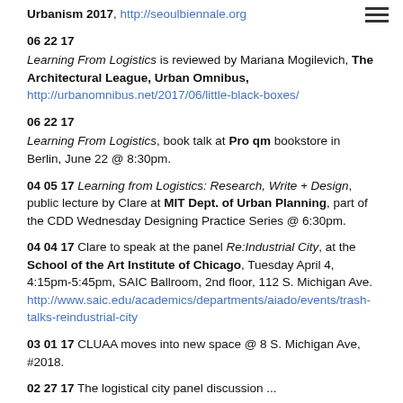Urbanism 2017, http://seoulbiennale.org
06 22 17 Learning From Logistics is reviewed by Mariana Mogilevich, The Architectural League, Urban Omnibus, http://urbanomnibus.net/2017/06/little-black-boxes/
06 22 17 Learning From Logistics, book talk at Pro qm bookstore in Berlin, June 22 @ 8:30pm.
04 05 17 Learning from Logistics: Research, Write + Design, public lecture by Clare at MIT Dept. of Urban Planning, part of the CDD Wednesday Designing Practice Series @ 6:30pm.
04 04 17 Clare to speak at the panel Re:Industrial City, at the School of the Art Institute of Chicago, Tuesday April 4, 4:15pm-5:45pm, SAIC Ballroom, 2nd floor, 112 S. Michigan Ave. http://www.saic.edu/academics/departments/aiado/events/trash-talks-reindustrial-city
03 01 17 CLUAA moves into new space @ 8 S. Michigan Ave, #2018.
02 27 17 The logistical city panel discussion ...